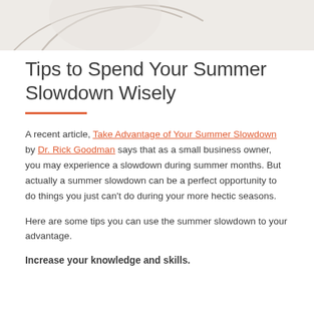[Figure (illustration): Partial decorative illustration with curved lines on a light beige/grey background at the top of the page]
Tips to Spend Your Summer Slowdown Wisely
A recent article, Take Advantage of Your Summer Slowdown by Dr. Rick Goodman says that as a small business owner, you may experience a slowdown during summer months. But actually a summer slowdown can be a perfect opportunity to do things you just can't do during your more hectic seasons.
Here are some tips you can use the summer slowdown to your advantage.
Increase your knowledge and skills.